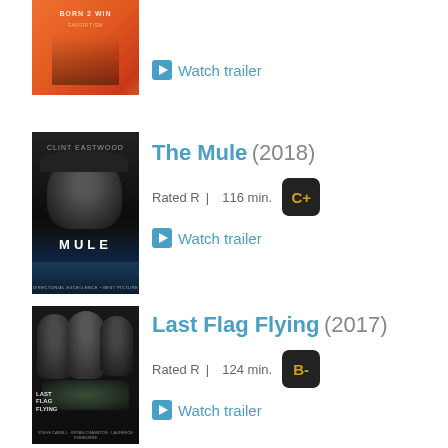[Figure (photo): Partially visible movie poster (orange/red tones) at top of page]
Watch trailer
The Mule (2018)
[Figure (photo): The Mule (2018) movie poster — black and white image of Clint Eastwood with text MULE at bottom]
Rated R |   116 min.
C+
Watch trailer
Last Flag Flying (2017)
[Figure (photo): Last Flag Flying (2017) movie poster — black and white, three men, American flag]
Rated R |   124 min.
B-
Watch trailer